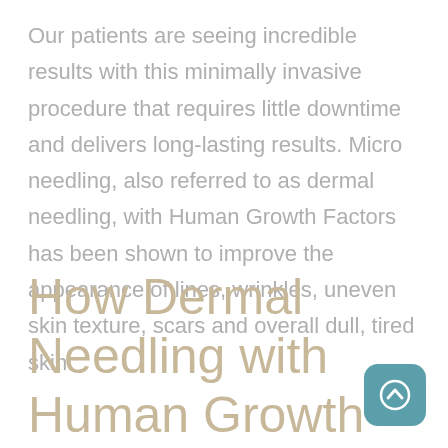Our patients are seeing incredible results with this minimally invasive procedure that requires little downtime and delivers long-lasting results. Micro needling, also referred to as dermal needling, with Human Growth Factors has been shown to improve the appearance of lines, wrinkles, uneven skin texture, scars and overall dull, tired skin.
How Dermal Needling with Human Growth Factors Works